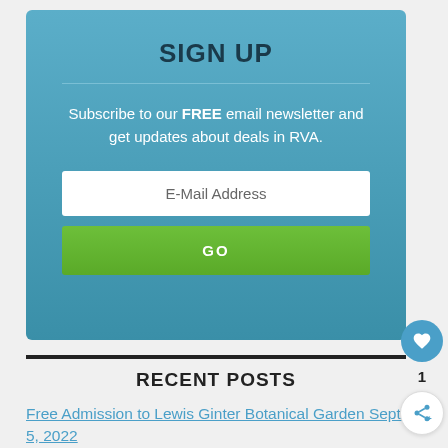SIGN UP
Subscribe to our FREE email newsletter and get updates about deals in RVA.
RECENT POSTS
Free Admission to Lewis Ginter Botanical Garden Sept. 5, 2022
Nothing Bundt Cakes celebrates 25th